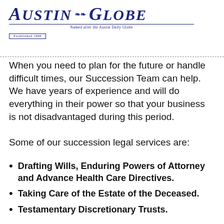Austin Globe — Named after the Austin Daily Globe — Established 1888
When you need to plan for the future or handle difficult times, our Succession Team can help. We have years of experience and will do everything in their power so that your business is not disadvantaged during this period.
Some of our succession legal services are:
Drafting Wills, Enduring Powers of Attorney and Advance Health Care Directives.
Taking Care of the Estate of the Deceased.
Testamentary Discretionary Trusts.